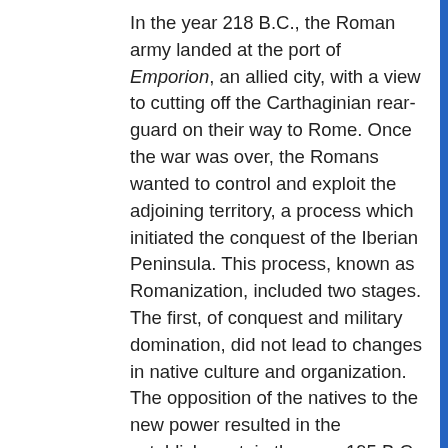In the year 218 B.C., the Roman army landed at the port of Emporion, an allied city, with a view to cutting off the Carthaginian rear-guard on their way to Rome. Once the war was over, the Romans wanted to control and exploit the adjoining territory, a process which initiated the conquest of the Iberian Peninsula. This process, known as Romanization, included two stages. The first, of conquest and military domination, did not lead to changes in native culture and organization. The opposition of the natives to the new power resulted in the establishment, in the year 195 B.C., of a Roman military camp, on the upper part of the hill of Empúries, so that the country could be controlled and peace maintained. The second stage, which started at the beginning of the first century B.C., entailed the absorption of the various existing societies into Roman culture. New cities were created, such as Empúries itself, Gerunda [Girona] or Tarraco [Tarragona]; a major road network was developed, whose main axis was the